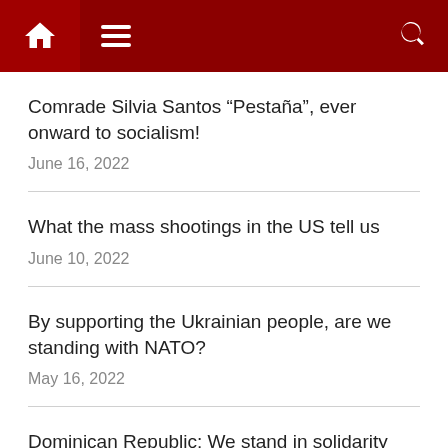Navigation bar with home, menu, and search icons
Comrade Silvia Santos “Pestaña”, ever onward to socialism!
June 16, 2022
What the mass shootings in the US tell us
June 10, 2022
By supporting the Ukrainian people, are we standing with NATO?
May 16, 2022
Dominican Republic: We stand in solidarity with Ana Belique and Michelle Ricardo, we reject the censorship and fascist threats during the International Book Fair of Santo Domingo